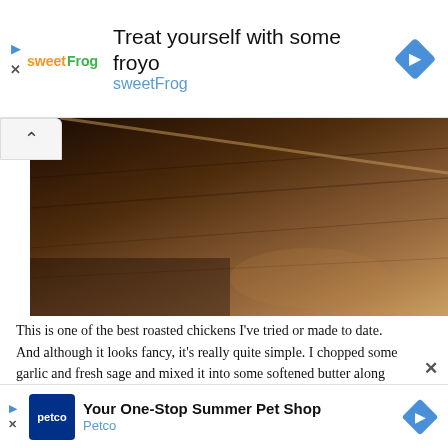[Figure (screenshot): Sweet Frog frozen yogurt advertisement banner with logo, text 'Treat yourself with some froyo sweetFrog', navigation arrow icon, and play/close controls]
[Figure (photo): Close-up photo of a roasted chicken in a dark baking pan, showing browned skin with herbs]
This is one of the best roasted chickens I've tried or made to date. And although it looks fancy, it's really quite simple. I chopped some garlic and fresh sage and mixed it into some softened butter along with some kosher salt. Then I rubbed it all over the outside of the chicken. I didn't even truss the chicken (but if you want to truss your chicken, check out Meredith's tutorial). I put it straight into the pressure oven and roasted it for 40 minutes on the pressure setting. At the end of the cooking time, I put some
[Figure (screenshot): Petco advertisement banner with logo, text 'Your One-Stop Summer Pet Shop Petco', navigation arrow icon, and play/close controls]